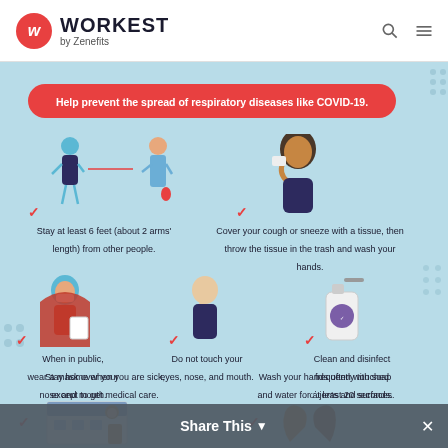[Figure (logo): Workest by Zenefits logo with red W circle]
[Figure (infographic): COVID-19 prevention tips infographic on blue background with illustrated characters showing: stay 6 feet apart, cover cough/sneeze, wear mask in public, don't touch face, clean surfaces, stay home when sick, wash hands 20 seconds]
Help prevent the spread of respiratory diseases like COVID-19.
Stay at least 6 feet (about 2 arms' length) from other people.
Cover your cough or sneeze with a tissue, then throw the tissue in the trash and wash your hands.
When in public, wear a mask over your nose and mouth.
Do not touch your eyes, nose, and mouth.
Clean and disinfect frequently touched objects and surfaces.
Stay home when you are sick, except to get medical care.
Wash your hands often with soap and water for at least 20 seconds.
Share This